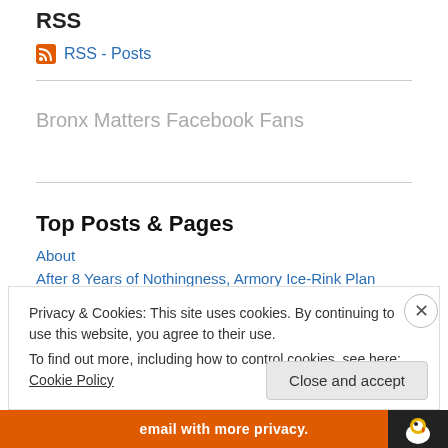RSS
RSS - Posts
Bronx Matters Facebook Fans
Top Posts & Pages
About
After 8 Years of Nothingness, Armory Ice-Rink Plan Ditched
Privacy & Cookies: This site uses cookies. By continuing to use this website, you agree to their use.
To find out more, including how to control cookies, see here: Cookie Policy
Close and accept
email with more privacy.